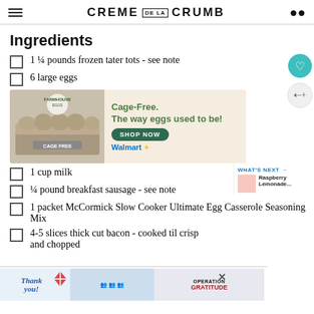CREME DE LA CRUMB
Ingredients
1 ¼ pounds frozen tater tots - see note
6 large eggs
[Figure (photo): Advertisement for Farmhouse Eggs cage-free eggs at Walmart, showing an egg carton with green SHOP NOW button]
1 cup milk
¼ pound breakfast sausage - see note
1 packet McCormick Slow Cooker Ultimate Egg Casserole Seasoning Mix
4-5 slices thick cut bacon - cooked til crisp and chopped
[Figure (photo): Bottom banner advertisement: Thank you! Operation Gratitude with people in masks holding boxes]